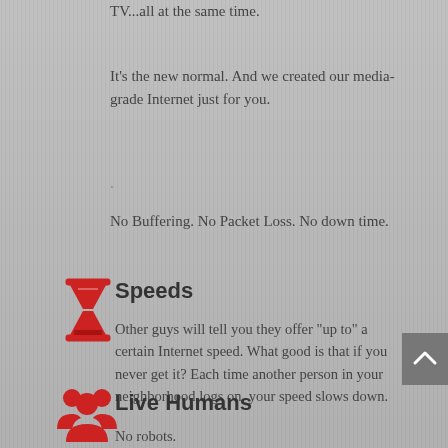TV...all at the same time.
It's the new normal. And we created our media-grade Internet just for you.
.
No Buffering. No Packet Loss. No down time.
Speeds
Other guys will tell you they offer “up to” a certain Internet speed. What good is that if you never get it? Each time another person in your neighborhood logs on, your speed slows down.
Live Humans
No robots.
Live humans answering phones. Quick installs. Set appointment times. And Tech